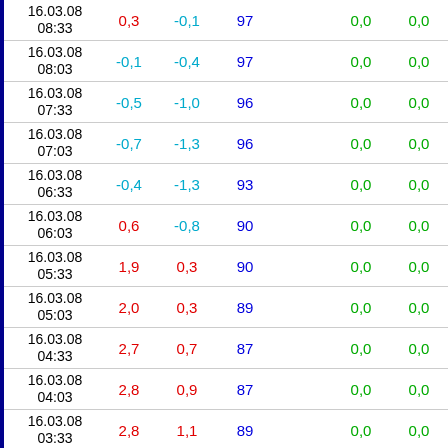| DateTime | Col1 | Col2 | Col3 | Col4 | Col5 |
| --- | --- | --- | --- | --- | --- |
| 16.03.08 08:33 | 0,3 | -0,1 | 97 | 0,0 | 0,0 |
| 16.03.08 08:03 | -0,1 | -0,4 | 97 | 0,0 | 0,0 |
| 16.03.08 07:33 | -0,5 | -1,0 | 96 | 0,0 | 0,0 |
| 16.03.08 07:03 | -0,7 | -1,3 | 96 | 0,0 | 0,0 |
| 16.03.08 06:33 | -0,4 | -1,3 | 93 | 0,0 | 0,0 |
| 16.03.08 06:03 | 0,6 | -0,8 | 90 | 0,0 | 0,0 |
| 16.03.08 05:33 | 1,9 | 0,3 | 90 | 0,0 | 0,0 |
| 16.03.08 05:03 | 2,0 | 0,3 | 89 | 0,0 | 0,0 |
| 16.03.08 04:33 | 2,7 | 0,7 | 87 | 0,0 | 0,0 |
| 16.03.08 04:03 | 2,8 | 0,9 | 87 | 0,0 | 0,0 |
| 16.03.08 03:33 | 2,8 | 1,1 | 89 | 0,0 | 0,0 |